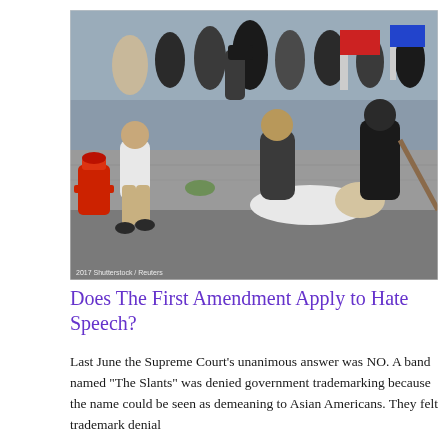[Figure (photo): News photograph showing a street altercation at what appears to be a political rally or protest. Multiple people are involved in a physical fight on a sidewalk. A red fire hydrant is visible on the left. Onlookers and photographers are visible in the background.]
Does The First Amendment Apply to Hate Speech?
Last June the Supreme Court's unanimous answer was NO. A band named "The Slants" was denied government trademarking because the name could be seen as demeaning to Asian Americans. They felt trademark denial denied them their First Amendment right to